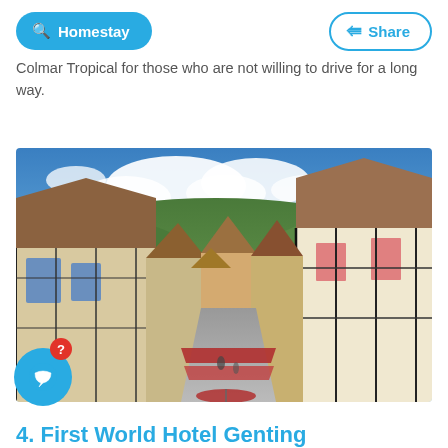Homestay | Share
Colmar Tropical for those who are not willing to drive for a long way.
[Figure (photo): Aerial view of Colmar Tropical, a French Alsatian-themed resort with timber-framed buildings, colorful facades, tiled roofs, a pedestrian street with red awnings, and green hillside backdrop under blue sky with clouds.]
4. First World Hotel Genting